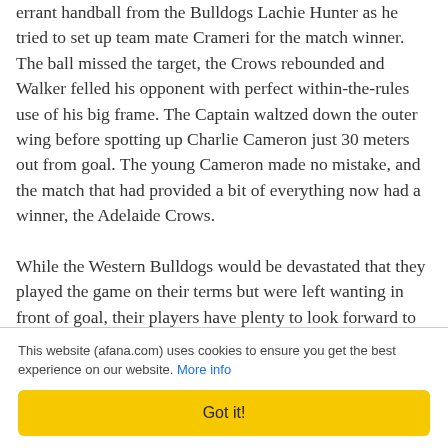errant handball from the Bulldogs Lachie Hunter as he tried to set up team mate Crameri for the match winner. The ball missed the target, the Crows rebounded and Walker felled his opponent with perfect within-the-rules use of his big frame. The Captain waltzed down the outer wing before spotting up Charlie Cameron just 30 meters out from goal. The young Cameron made no mistake, and the match that had provided a bit of everything now had a winner, the Adelaide Crows.

While the Western Bulldogs would be devastated that they played the game on their terms but were left wanting in front of goal, their players have plenty to look forward to in 2016. As a very young and improving team, the Bulldogs should once again be a contender. Adelaide coach Scott Camporeale was ecstatic with the victory, setting up a semi-final against Hawthorn on Friday night, once again at the
This website (afana.com) uses cookies to ensure you get the best experience on our website. More info
Got it!